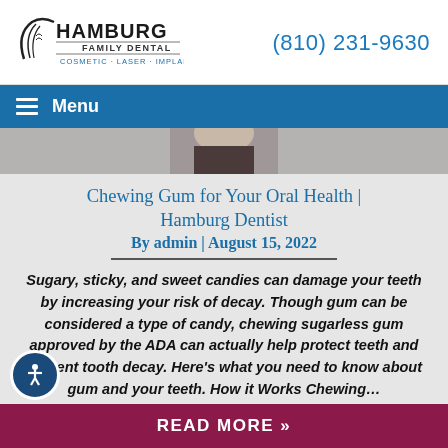[Figure (logo): Hamburg Family Dental logo with tooth/arc graphic on left and text 'HAMBURG FAMILY DENTAL COSMETIC · LASER · IMPLANT']
(810) 231-9630
Menu
[Figure (photo): Partial photo of person, cropped strip showing shoulders/neck area]
Chewing Gum for Your Oral Health | Hamburg Dentist
By admin | August 15, 2022
Sugary, sticky, and sweet candies can damage your teeth by increasing your risk of decay. Though gum can be considered a type of candy, chewing sugarless gum approved by the ADA can actually help protect teeth and prevent tooth decay. Here’s what you need to know about gum and your teeth. How it Works Chewing…
READ MORE »